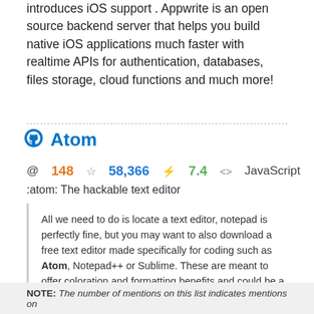introduces iOS support . Appwrite is an open source backend server that helps you build native iOS applications much faster with realtime APIs for authentication, databases, files storage, cloud functions and much more!
Atom
@ 148   ☆ 58,366   ⚡ 7.4   <> JavaScript
:atom: The hackable text editor
All we need to do is locate a text editor, notepad is perfectly fine, but you may want to also download a free text editor made specifically for coding such as Atom, Notepad++ or Sublime. These are meant to offer coloration and formatting benefits and could be a helpful tool in your journey to creating something special!
NOTE: The number of mentions on this list indicates mentions on